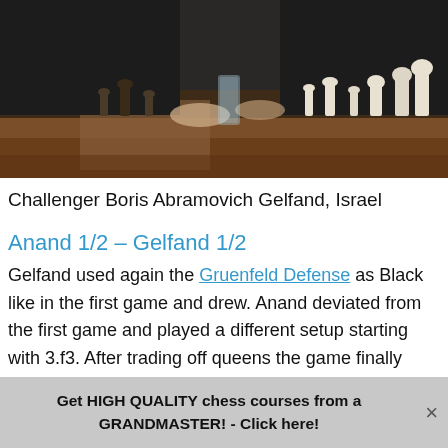[Figure (photo): Photo of chess board with pieces and players' hands visible, taken from above/side angle at a chess match]
Challenger Boris Abramovich Gelfand, Israel
Anand 1/2 – Gelfand 1/2
Gelfand used again the Gruenfeld Defense as Black like in the first game and drew. Anand deviated from the first game and played a different setup starting with 3.f3. After trading off queens the game finally ended in a drawish rook endgame.
Replay the game below …
Get HIGH QUALITY chess courses from a GRANDMASTER! - Click here!